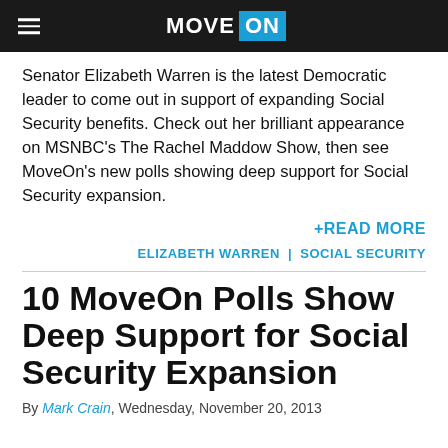MoveOn
Senator Elizabeth Warren is the latest Democratic leader to come out in support of expanding Social Security benefits. Check out her brilliant appearance on MSNBC's The Rachel Maddow Show, then see MoveOn's new polls showing deep support for Social Security expansion.
+READ MORE
ELIZABETH WARREN | SOCIAL SECURITY
10 MoveOn Polls Show Deep Support for Social Security Expansion
By Mark Crain, Wednesday, November 20, 2013